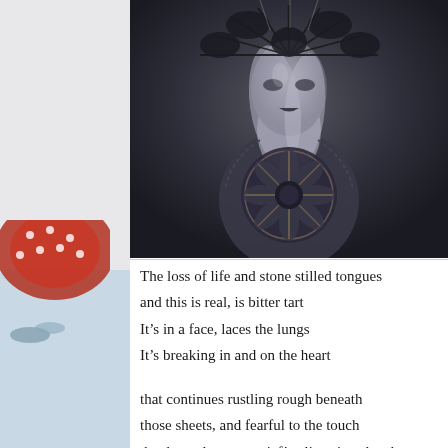[Figure (illustration): A dark artistic marionette/doll figure with silver-grey metallic body paint, elaborate dark headdress with spiky feather-like elements and black foliage, ornate symmetrical chest piece resembling a rose window or mandala in dark grey and gold tones, strings visible, dramatic moody dark grey background.]
The loss of life and stone stilled tongues
and this is real, is bitter tart
It's in a face, laces the lungs
It's breaking in and on the heart

that continues rustling rough beneath
those sheets, and fearful to the touch
that long slow wet grief's glistening sheath